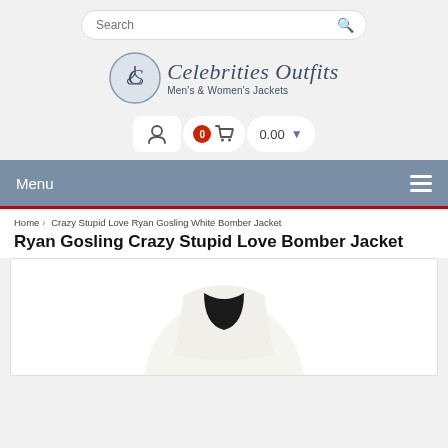[Figure (screenshot): Search bar with rounded rectangle shape and magnifying glass icon]
[Figure (logo): Celebrities Outfits logo with circular emblem and italic text. Men's & Women's Jackets subtitle.]
[Figure (screenshot): User account icon button, cart button with 0 badge, and price display showing 0.00 with dropdown]
Menu
Home › Crazy Stupid Love Ryan Gosling White Bomber Jacket
Ryan Gosling Crazy Stupid Love Bomber Jacket
[Figure (photo): Partial product image of white bomber jacket, cropped at bottom of page]